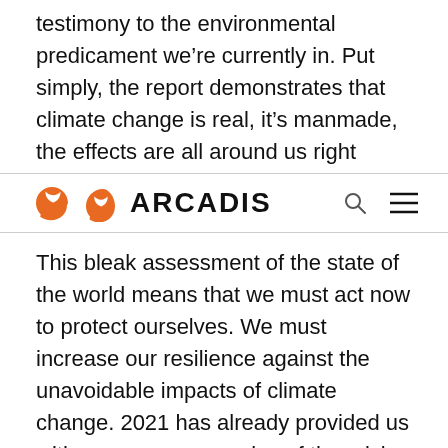testimony to the environmental predicament we’re currently in. Put simply, the report demonstrates that climate change is real, it’s manmade, the effects are all around us right
[Figure (logo): Arcadis company logo with orange spiral snail-shell icon and bold black ARCADIS text, with search and hamburger menu icons on the right]
This bleak assessment of the state of the world means that we must act now to protect ourselves. We must increase our resilience against the unavoidable impacts of climate change. 2021 has already provided us with numerous examples of the crisis at hand. In mid-July, extreme rainfall across Europe caused massive flooding, more than 200